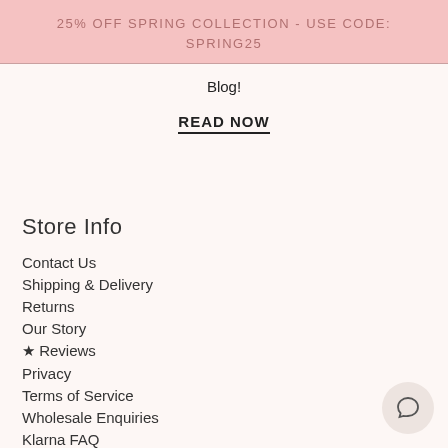25% OFF SPRING COLLECTION - USE CODE: SPRING25
Blog!
READ NOW
Store Info
Contact Us
Shipping & Delivery
Returns
Our Story
★ Reviews
Privacy
Terms of Service
Wholesale Enquiries
Klarna FAQ
Terms of Service